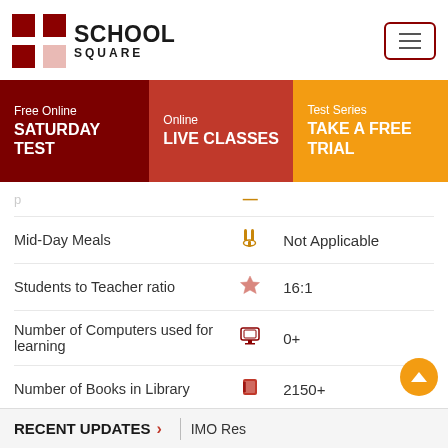[Figure (logo): School Square logo with red cross/grid icon and bold text 'SCHOOL SQUARE']
[Figure (other): Hamburger menu button with three horizontal lines inside a dark-red rounded rectangle border]
Free Online SATURDAY TEST
Online LIVE CLASSES
Test Series TAKE A FREE TRIAL
Mid-Day Meals — Not Applicable
Students to Teacher ratio — 16:1
Number of Computers used for learning — 0+
Number of Books in Library — 2150+
School Category — Sr. Secondary School
RECENT UPDATES > | IMO Res